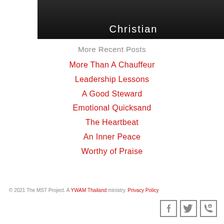[Figure (photo): Black and white photo with the word Christian overlaid in white text]
More Recent Posts
More Than A Chauffeur
Leadership Lessons
A Good Steward
Emotional Quicksand
The Heartbeat
An Inner Peace
Worthy of Praise
© 2021 The MST Project. A YWAM Thailand ministry. Privacy Policy